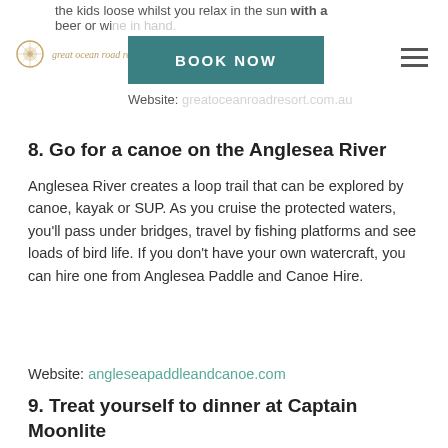the kids loose whilst you relax in the sun with a beer or wine in hand. Website: greatoceanroadresort.com.au
8. Go for a canoe on the Anglesea River
Anglesea River creates a loop trail that can be explored by canoe, kayak or SUP. As you cruise the protected waters, you'll pass under bridges, travel by fishing platforms and see loads of bird life. If you don't have your own watercraft, you can hire one from Anglesea Paddle and Canoe Hire.
Website: angleseapaddleandcanoe.com
9. Treat yourself to dinner at Captain Moonlite
Captain Moonlite was awarded the 'Best Restaurant View' in Victoria and for good reason. The restaurant, located on the top floor of the Anglesea Surf Lifesaving Club,